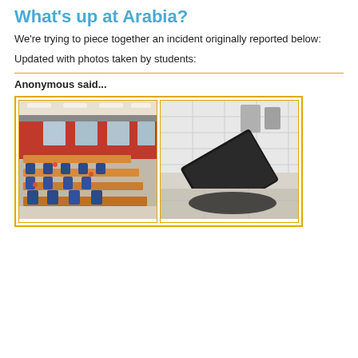What's up at Arabia?
We're trying to piece together an incident originally reported below:
Updated with photos taken by students:
Anonymous said...
[Figure (photo): Two student photos: left shows a school cafeteria with overturned chairs and scattered items on long tables; right shows a trash can or bin tipped over near a bathroom sink area.]